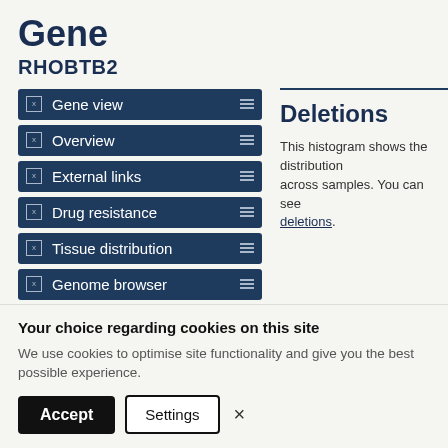Gene
RHOBTB2
Gene view
Overview
External links
Drug resistance
Tissue distribution
Genome browser
Mutation distribution
Deletions
This histogram shows the distribution across samples. You can see deletions.
Your choice regarding cookies on this site
We use cookies to optimise site functionality and give you the best possible experience.
Accept  Settings  ×